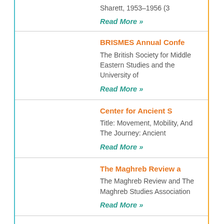Sharett, 1953–1956 (3
Read More »
BRISMES Annual Confe
The British Society for Middle Eastern Studies and the University of
Read More »
Center for Ancient S
Title: Movement, Mobility, And The Journey: Ancient
Read More »
The Maghreb Review a
The Maghreb Review and The Maghreb Studies Association
Read More »